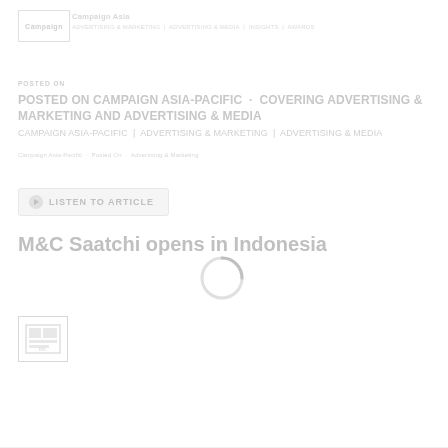Campaign Asia
POSTED ON CAMPAIGN ASIA-PACIFIC COVERING ADVERTISING & MARKETING AND ADVERTISING & MEDIA
LISTEN TO ARTICLE
M&C Saatchi opens in Indonesia
[Figure (logo): Small logo thumbnail with icon]